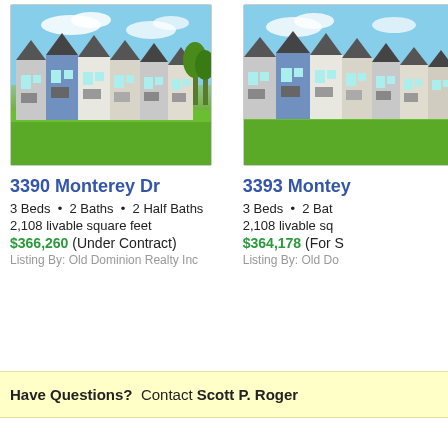[Figure (photo): Townhouse row exterior photo for 3390 Monterey Dr — multi-unit brick/siding townhomes with blue sky and green lawn]
3390 Monterey Dr
3 Beds  •  2 Baths  •  2 Half Baths
2,108 livable square feet
$366,260 (Under Contract)
Listing By: Old Dominion Realty Inc
[Figure (photo): Townhouse row exterior photo for 3393 Monterey Dr — similar multi-unit townhomes with blue sky and green lawn, partially cropped]
3393 Monte...
3 Beds  •  2 Bat...
2,108 livable sq...
$364,178 (For S...)
Listing By: Old Do...
Have Questions?  Contact Scott P. Roger...